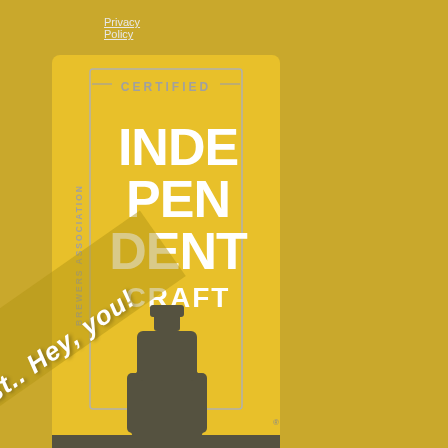Privacy Policy
[Figure (logo): Brewers Association Certified Independent Craft Supporter badge. Yellow background with dark brown/grey beer bottle silhouette. Text reads: CERTIFIED, BREWERS ASSOCIATION, INDE PEN DENT CRAFT in white letters. Dark banner at bottom reads SUPPORTER in white.]
Psst.. Hey, you!